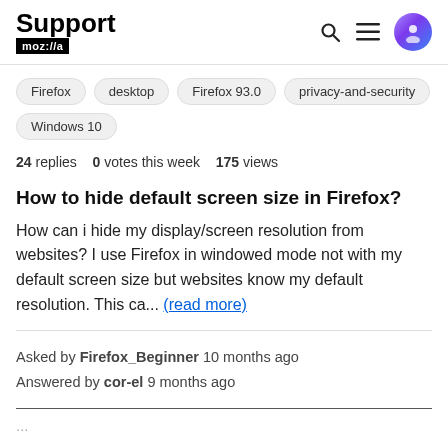Support mozilla // (with search, menu, avatar icons)
Firefox
desktop
Firefox 93.0
privacy-and-security
Windows 10
24 replies  0 votes this week  175 views
How to hide default screen size in Firefox?
How can i hide my display/screen resolution from websites? I use Firefox in windowed mode not with my default screen size but websites know my default resolution. This ca... (read more)
Asked by Firefox_Beginner 10 months ago
Answered by cor-el 9 months ago